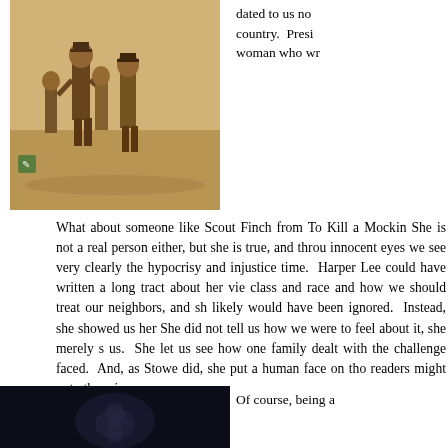[Figure (illustration): Historical sepia-toned engraving showing several figures in 19th century clothing standing together outdoors]
dated to us no country. Presi woman who wr
What about someone like Scout Finch from To Kill a Mockin She is not a real person either, but she is true, and throu innocent eyes we see very clearly the hypocrisy and injustice time. Harper Lee could have written a long tract about her vie class and race and how we should treat our neighbors, and sh likely would have been ignored. Instead, she showed us her She did not tell us how we were to feel about it, she merely s us. She let us see how one family dealt with the challenge faced. And, as Stowe did, she put a human face on tho readers might not otherwise see.
[Figure (photo): Dark photograph, appears to show a person or scene with very dark background]
Of course, being a